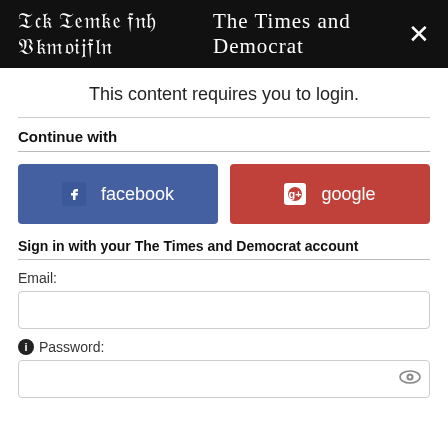The Times and Democrat
This content requires you to login.
Continue with
[Figure (other): Two social login buttons: facebook (blue) and google (red)]
Sign in with your The Times and Democrat account
Email:
Password: